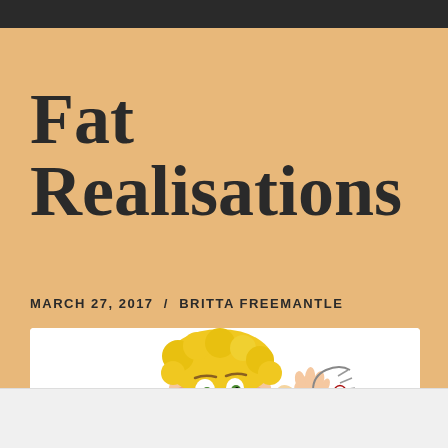Fat Realisations
MARCH 27, 2017 / BRITTA FREEMANTLE
[Figure (illustration): Cartoon illustration of a large woman with blonde hair holding up a small red shirt on a hanger, looking surprised or amused.]
Follow